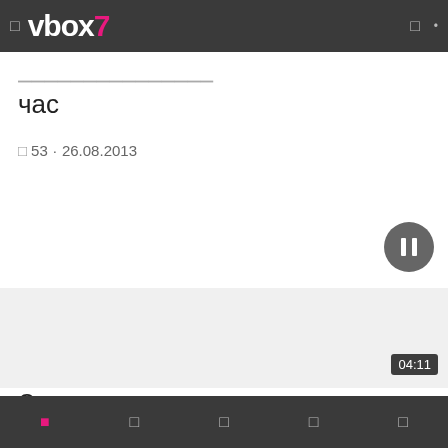vbox7
час
53 · 26.08.2013
[Figure (screenshot): Video player area with pause button overlay, white background]
04:11
Спецназ гру
Navigation bottom bar